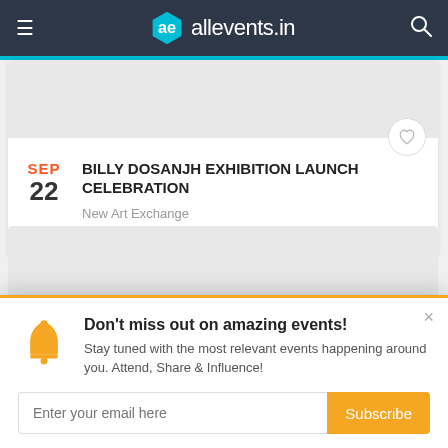ae allevents.in
BILLY DOSANJH EXHIBITION LAUNCH CELEBRATION
New Art Exchange
Thu Sep 22 2022 at 06:00 pm
[Figure (screenshot): Gray placeholder image area for event]
Don't miss out on amazing events! Stay tuned with the most relevant events happening around you. Attend, Share & Influence!
Enter your email here  Subscribe